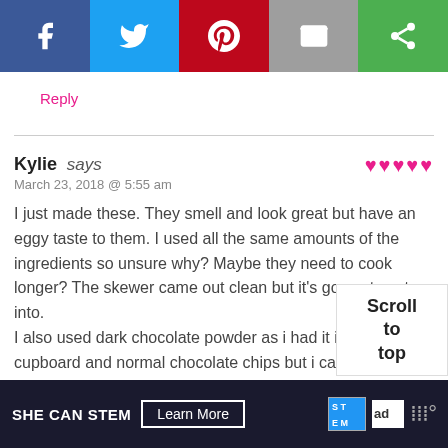[Figure (screenshot): Social sharing bar with Facebook (blue), Twitter (light blue), Pinterest (red), Email (gray), and share (green) buttons with white icons]
Reply
Kylie says
March 23, 2018 @ 5:55 am
I just made these. They smell and look great but have an eggy taste to them. I used all the same amounts of the ingredients so unsure why? Maybe they need to cook longer? The skewer came out clean but it's gooey to cut into.
I also used dark chocolate powder as i had it in the cupboard and normal chocolate chips but i cant see that making much of a difference
Scroll to top
[Figure (screenshot): SHE CAN STEM ad banner with Learn More button, STEM logo, Ad Council logo, and media company logo on dark navy background]